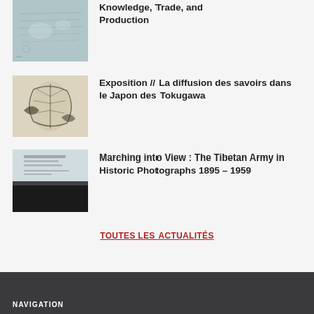[Figure (illustration): Thumbnail image of a historical map, muted blue/green tones]
Knowledge, Trade, and Production
[Figure (illustration): Thumbnail image of botanical illustration with dark leaf patterns on beige background]
Exposition // La diffusion des savoirs dans le Japon des Tokugawa
[Figure (illustration): Thumbnail image of a book cover, light grey top half with text, dark/black bottom half]
Marching into View : The Tibetan Army in Historic Photographs 1895 – 1959
TOUTES LES ACTUALITÉS
NAVIGATION